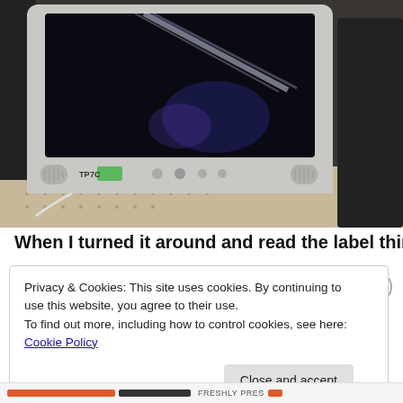[Figure (photo): A white CRT or LCD monitor sitting on a desk/pegboard surface. The screen is dark/off with a reflection of fluorescent lights visible. The monitor has speakers on either side and control buttons on the front bezel. There is a green sticker/label on the front. To the left are some desk items and to the right is a dark printer or device.]
When I turned it around and read the label things became
Privacy & Cookies: This site uses cookies. By continuing to use this website, you agree to their use.
To find out more, including how to control cookies, see here: Cookie Policy
Close and accept